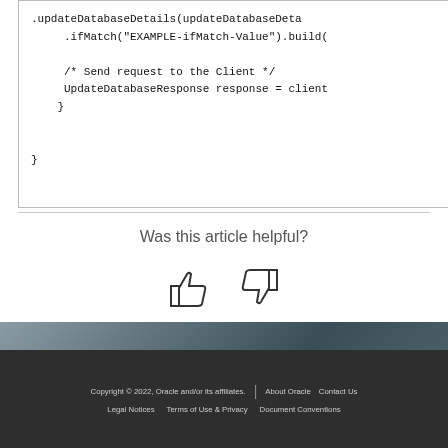.updateDatabaseDetails(updateDatabaseDeta...
.ifMatch("EXAMPLE-ifMatch-Value").build(

/* Send request to the Client */
UpdateDatabaseResponse response = client
    }
Was this article helpful?
[Figure (illustration): Thumbs up and thumbs down icons for article feedback]
Copyright © 2022, Oracle and/or its affiliates. | About Oracle | Contact Us | Legal Notices | Terms of Use & Privacy | Document Conventions